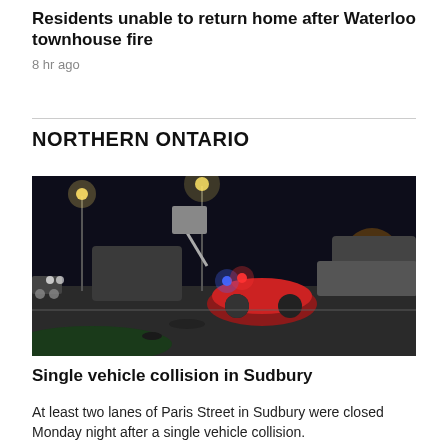Residents unable to return home after Waterloo townhouse fire
8 hr ago
NORTHERN ONTARIO
[Figure (photo): Night-time photo of a vehicle collision scene on a multi-lane road. A red vehicle is overturned on its side on the road. Tow trucks and emergency vehicles with lights are visible. Street lights and orange/blue lights illuminate the dark scene.]
Single vehicle collision in Sudbury
At least two lanes of Paris Street in Sudbury were closed Monday night after a single vehicle collision.